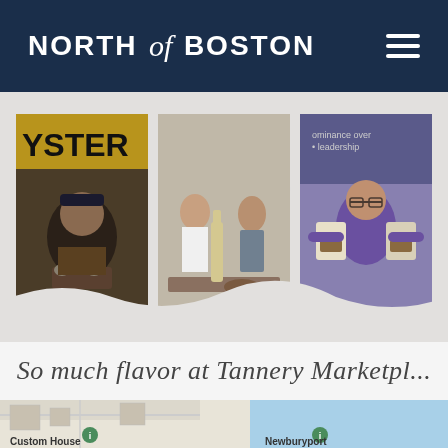NORTH of BOSTON
[Figure (photo): Three food/lifestyle photos: an oyster vendor at a market stall with 'OYSTER' sign holding a tray of oysters; two women cooking together with wine bottle; a smiling woman in purple shirt holding up cookie mix bags]
So much flavor at Tannery Marketplace
[Figure (map): Map showing Newburyport area with Custom House marker visible at bottom left and Newburyport marker at bottom right]